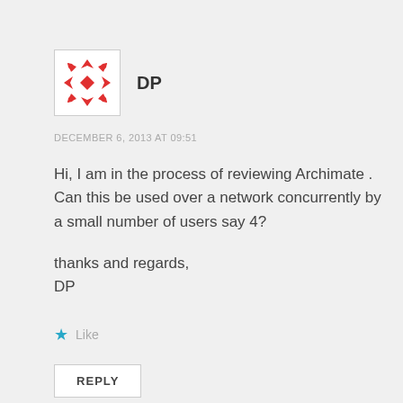[Figure (logo): Red geometric snowflake/star pattern avatar icon in a white box with border]
DP
DECEMBER 6, 2013 AT 09:51
Hi, I am in the process of reviewing Archimate . Can this be used over a network concurrently by a small number of users say 4?
thanks and regards,
DP
Like
REPLY